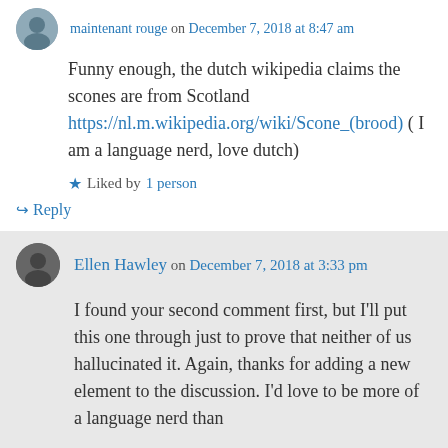maintenant rouge on December 7, 2018 at 8:47 am
Funny enough, the dutch wikipedia claims the scones are from Scotland https://nl.m.wikipedia.org/wiki/Scone_(brood) ( I am a language nerd, love dutch)
Liked by 1 person
↳ Reply
Ellen Hawley on December 7, 2018 at 3:33 pm
I found your second comment first, but I'll put this one through just to prove that neither of us hallucinated it. Again, thanks for adding a new element to the discussion. I'd love to be more of a language nerd than